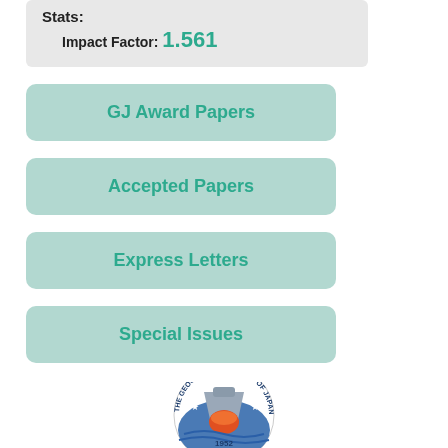Stats: Impact Factor: 1.561
GJ Award Papers
Accepted Papers
Express Letters
Special Issues
[Figure (logo): The Geochemical Society of Japan circular logo with flask and blue wave design, est. 1952]